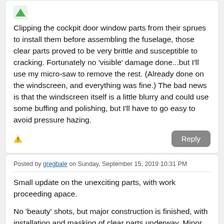[Figure (illustration): Small green avatar/icon image at top of first comment card]
Clipping the cockpit door window parts from their sprues to install them before assembling the fuselage, those clear parts proved to be very brittle and susceptible to cracking. Fortunately no 'visible' damage done...but I'll use my micro-saw to remove the rest. (Already done on the windscreen, and everything was fine.) The bad news is that the windscreen itself is a little blurry and could use some buffing and polishing, but I'll have to go easy to avoid pressure hazing.
Posted by gregbale on Sunday, September 15, 2019 10:31 PM
Small update on the unexciting parts, with work proceeding apace.

No 'beauty' shots, but major construction is finished, with installation and masking of clear parts underway. Minor